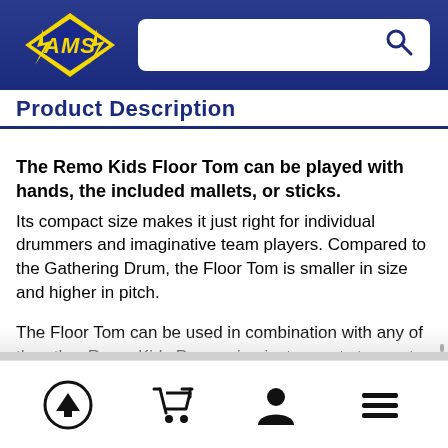[Figure (logo): AMS logo with yellow lightning bolt diamond shape and stylized 'AMS' text on dark blue background header with search bar]
Product Description
The Remo Kids Floor Tom can be played with hands, the included mallets, or sticks. Its compact size makes it just right for individual drummers and imaginative team players. Compared to the Gathering Drum, the Floor Tom is smaller in size and higher in pitch.
The Floor Tom can be used in combination with any of the other Remo Kids Percussion instruments to create a Kids Drum Circle. Drum Circles are a wonderful way for a group
[Figure (other): Bottom navigation bar with four icons: upload/back-to-top arrow in circle, shopping cart, user/person silhouette, and hamburger menu lines]